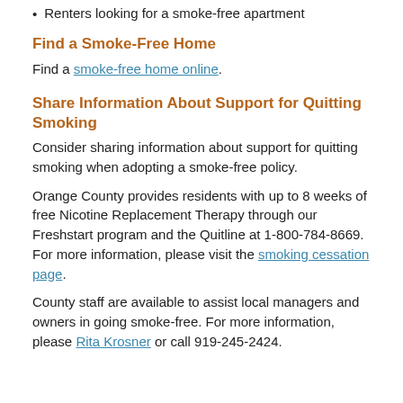Renters looking for a smoke-free apartment
Find a Smoke-Free Home
Find a smoke-free home online.
Share Information About Support for Quitting Smoking
Consider sharing information about support for quitting smoking when adopting a smoke-free policy.
Orange County provides residents with up to 8 weeks of free Nicotine Replacement Therapy through our Freshstart program and the Quitline at 1-800-784-8669. For more information, please visit the smoking cessation page.
County staff are available to assist local managers and owners in going smoke-free. For more information, please Rita Krosner or call 919-245-2424.